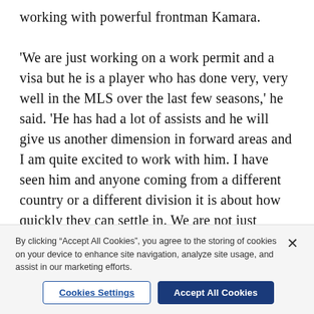working with powerful frontman Kamara.

'We are just working on a work permit and a visa but he is a player who has done very, very well in the MLS over the last few seasons,' he said. 'He has had a lot of assists and he will give us another dimension in forward areas and I am quite excited to work with him. I have seen him and anyone coming from a different country or a different division it is about how quickly they can settle in. We are not just taking an average player from that division, we are taking someone who has excelled in recent seasons. How quickly he can adapt and how much he can give us remains to be seen.'
By clicking "Accept All Cookies", you agree to the storing of cookies on your device to enhance site navigation, analyze site usage, and assist in our marketing efforts.
Cookies Settings
Accept All Cookies